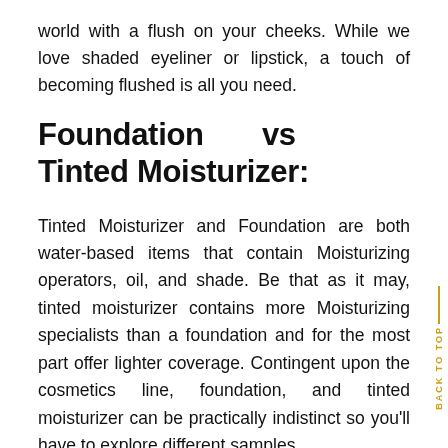world with a flush on your cheeks. While we love shaded eyeliner or lipstick, a touch of becoming flushed is all you need.
Foundation vs Tinted Moisturizer:
Tinted Moisturizer and Foundation are both water-based items that contain Moisturizing operators, oil, and shade. Be that as it may, tinted moisturizer contains more Moisturizing specialists than a foundation and for the most part offer lighter coverage. Contingent upon the cosmetics line, foundation, and tinted moisturizer can be practically indistinct so you'll have to explore different samples